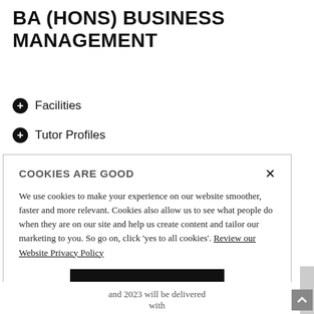BA (HONS) BUSINESS MANAGEMENT
Facilities
Tutor Profiles
COOKIES ARE GOOD
We use cookies to make your experience on our website smoother, faster and more relevant. Cookies also allow us to see what people do when they are on our site and help us create content and tailor our marketing to you. So go on, click 'yes to all cookies'. Review our Website Privacy Policy
Yes to all cookies
Let me choose
and 2023 will be delivered with